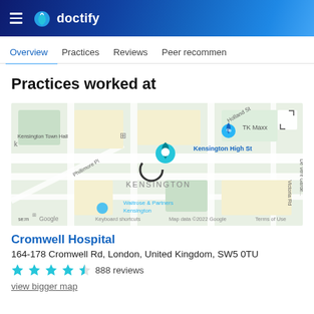doctify
Overview   Practices   Reviews   Peer recommen
Practices worked at
[Figure (map): Google Maps view showing Kensington area in London. Visible landmarks include Kensington Town Hall, TK Maxx, Kensington High St, Waitrose & Partners Kensington, Phillimore Pl, Holland St, Victoria Rd, De Vere Gardens. Map data ©2022 Google.]
Cromwell Hospital
164-178 Cromwell Rd, London, United Kingdom, SW5 0TU
888 reviews
view bigger map